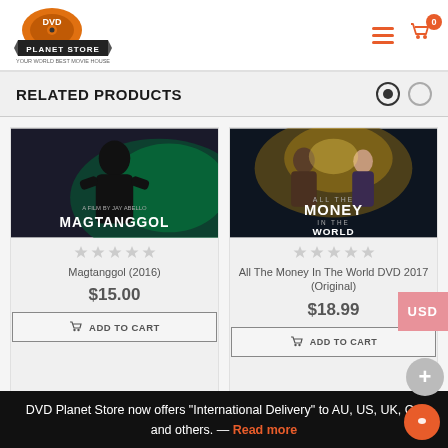[Figure (logo): DVD Planet Store logo — orange vinyl record graphic with 'DVD' text, 'PLANET STORE' on a banner, and tagline 'YOUR WORLD BEST MOVIE HOUSE']
RELATED PRODUCTS
[Figure (photo): Movie poster for Magtanggol (2016) — dark superhero figure in black suit against green background]
Magtanggol (2016)
$15.00
ADD TO CART
[Figure (photo): Movie poster for All The Money In The World 2017 — two figures with golden light background, text 'ALL THE MONEY IN THE WORLD']
All The Money In The World DVD 2017 (Original)
$18.99
ADD TO CART
DVD Planet Store now offers "International Delivery" to AU, US, UK, CA and others. — Read more